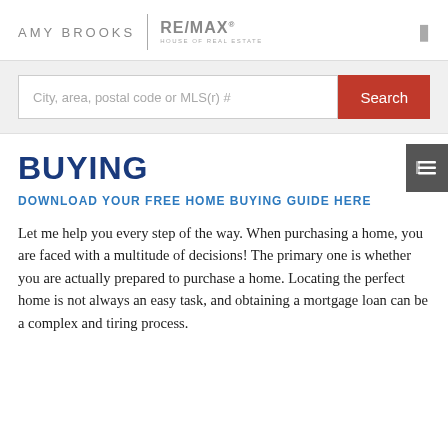AMY BROOKS | RE/MAX® HOUSE OF REAL ESTATE
[Figure (screenshot): Search bar with placeholder text 'City, area, postal code or MLS(r) #' and a red Search button]
BUYING
DOWNLOAD YOUR FREE HOME BUYING GUIDE HERE
Let me help you every step of the way. When purchasing a home, you are faced with a multitude of decisions! The primary one is whether you are actually prepared to purchase a home. Locating the perfect home is not always an easy task, and obtaining a mortgage loan can be a complex and tiring process.